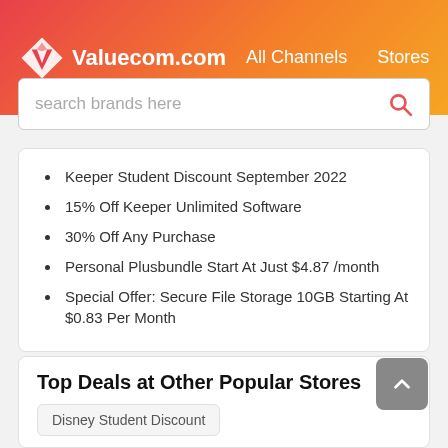Valuecom.com  All Channels  Stores
search brands here
Keeper Student Discount September 2022
15% Off Keeper Unlimited Software
30% Off Any Purchase
Personal Plusbundle Start At Just $4.87 /month
Special Offer: Secure File Storage 10GB Starting At $0.83 Per Month
Top Deals at Other Popular Stores
Disney Student Discount